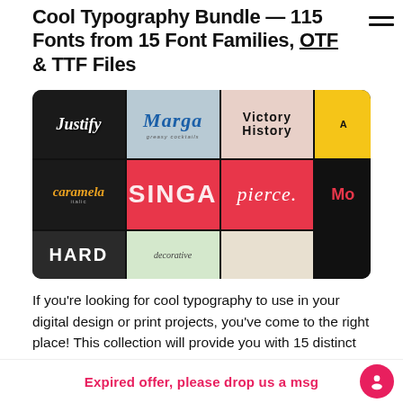Cool Typography Bundle — 115 Fonts from 15 Font Families, OTF & TTF Files
[Figure (photo): Collage of various font family showcase cards including Justify, Marga, Victory History, Singa, Pierce, Caramelo, and Hard typography samples on colorful backgrounds.]
If you're looking for cool typography to use in your digital design or print projects, you've come to the right place! This collection will provide you with 15 distinct font families with that cover
Expired offer, please drop us a msg